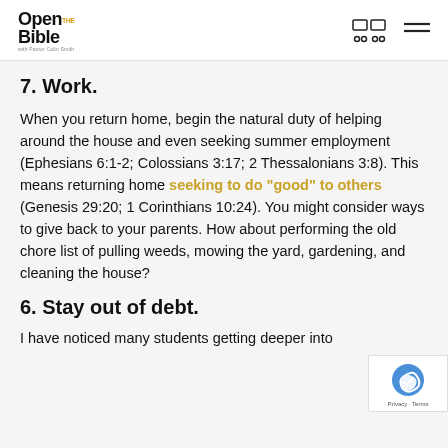Open the Bible with Pastor Colin Smith
7. Work.
When you return home, begin the natural duty of helping around the house and even seeking summer employment (Ephesians 6:1-2; Colossians 3:17; 2 Thessalonians 3:8). This means returning home seeking to do “good” to others (Genesis 29:20; 1 Corinthians 10:24). You might consider ways to give back to your parents. How about performing the old chore list of pulling weeds, mowing the yard, gardening, and cleaning the house?
6. Stay out of debt.
I have noticed many students getting deeper into